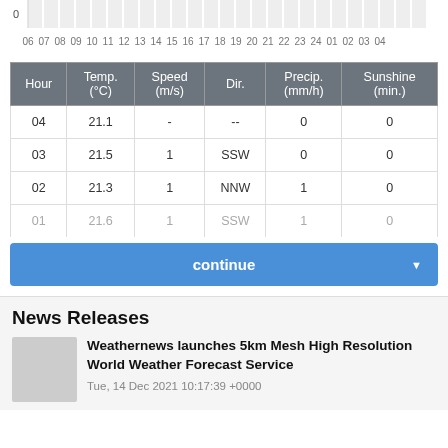[Figure (other): Partial time-axis bar chart showing hours 06 through 04 with a '0' label on y-axis, grey vertical bar marks]
| Hour | Temp.
(°C) | Speed
(m/s) | Dir. | Precip.
(mm/h) | Sunshine
(min.) |
| --- | --- | --- | --- | --- | --- |
| 04 | 21.1 | - | -- | 0 | 0 |
| 03 | 21.5 | 1 | SSW | 0 | 0 |
| 02 | 21.3 | 1 | NNW | 1 | 0 |
| 01 | 21.6 | 1 | SSW | 1 | 0 |
continue
News Releases
Weathernews launches 5km Mesh High Resolution World Weather Forecast Service
Tue, 14 Dec 2021 10:17:39 +0000